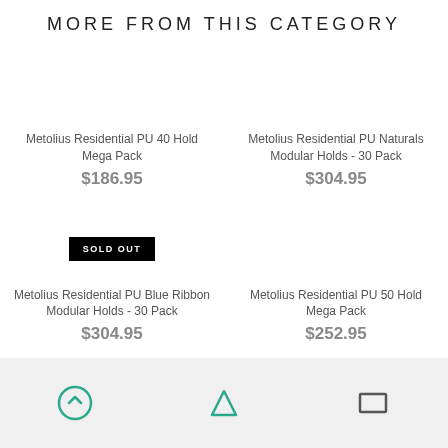MORE FROM THIS CATEGORY
Metolius Residential PU 40 Hold Mega Pack
$186.95
Metolius Residential PU Naturals Modular Holds - 30 Pack
$304.95
SOLD OUT
Metolius Residential PU Blue Ribbon Modular Holds - 30 Pack
$304.95
Metolius Residential PU 50 Hold Mega Pack
$252.95